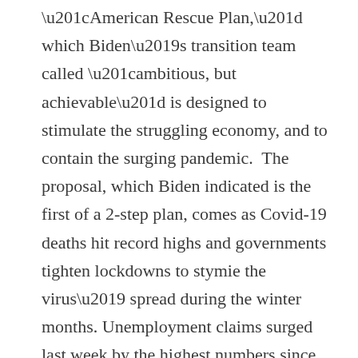“American Rescue Plan,” which Biden’s transition team called “ambitious, but achievable” is designed to stimulate the struggling economy, and to contain the surging pandemic.  The proposal, which Biden indicated is the first of a 2-step plan, comes as Covid-19 deaths hit record highs and governments tighten lockdowns to stymie the virus’ spread during the winter months. Unemployment claims surged last week by the highest numbers since March, and the economy lost 140,000 jobs in December.
The proposal includes many Democratic